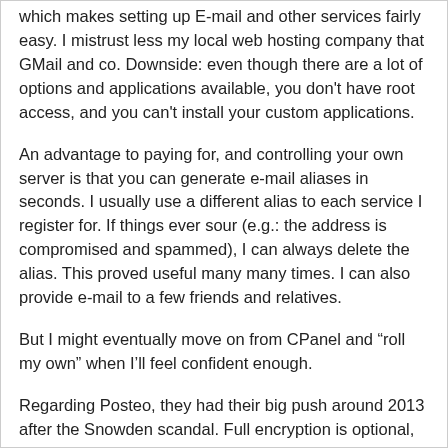which makes setting up E-mail and other services fairly easy. I mistrust less my local web hosting company that GMail and co. Downside: even though there are a lot of options and applications available, you don't have root access, and you can't install your custom applications.
An advantage to paying for, and controlling your own server is that you can generate e-mail aliases in seconds. I usually use a different alias to each service I register for. If things ever sour (e.g.: the address is compromised and spammed), I can always delete the alias. This proved useful many many times. I can also provide e-mail to a few friends and relatives.
But I might eventually move on from CPanel and “roll my own” when I’ll feel confident enough.
Regarding Posteo, they had their big push around 2013 after the Snowden scandal. Full encryption is optional, but they allow IMAP (and POP3) access. The web interface is a lot nicer and intuitive than ProtonMail’s. They cost a very reasonable 1€/month, which can be paid anonymously in cash or wire transfer.